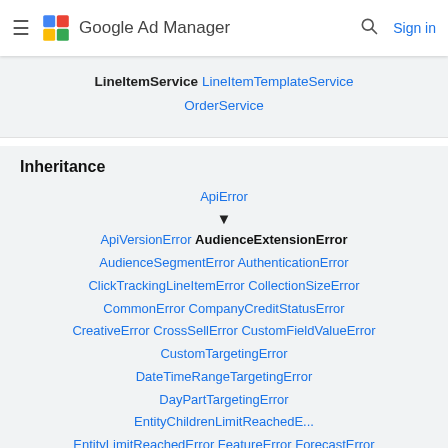Google Ad Manager
LineItemService LineItemTemplateService OrderService
Inheritance
ApiError ▼ ApiVersionError AudienceExtensionError AudienceSegmentError AuthenticationError ClickTrackingLineItemError CollectionSizeError CommonError CompanyCreditStatusError CreativeError CrossSellError CustomFieldValueError CustomTargetingError DateTimeRangeTargetingError DayPartTargetingError EntityChildrenLimitReachedE... EntityLimitReachedError FeatureError ForecastError FrequencyCapError GenericTargetingError